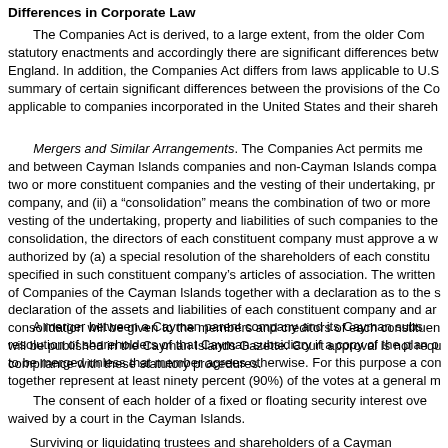Differences in Corporate Law
The Companies Act is derived, to a large extent, from the older Com statutory enactments and accordingly there are significant differences betw England. In addition, the Companies Act differs from laws applicable to U.S summary of certain significant differences between the provisions of the Co applicable to companies incorporated in the United States and their shareh
Mergers and Similar Arrangements. The Companies Act permits me and between Cayman Islands companies and non-Cayman Islands compa two or more constituent companies and the vesting of their undertaking, pr company, and (ii) a “consolidation” means the combination of two or more vesting of the undertaking, property and liabilities of such companies to the consolidation, the directors of each constituent company must approve a w authorized by (a) a special resolution of the shareholders of each constitu specified in such constituent company’s articles of association. The written of Companies of the Cayman Islands together with a declaration as to the s declaration of the assets and liabilities of each constituent company and ar consolidation will be given to the members and creditors of each constituen will be published in the Cayman Islands Gazette. Court approval is not requ compliance with these statutory procedures.
A merger between a Cayman parent company and its Cayman subs resolution of shareholders of that Cayman subsidiary if a copy of the plan o to be merged unless that member agrees otherwise. For this purpose a con together represent at least ninety percent (90%) of the votes at a general m
The consent of each holder of a fixed or floating security interest ove waived by a court in the Cayman Islands.
Surviving or liquidating trustees and shareholders of a Cayman